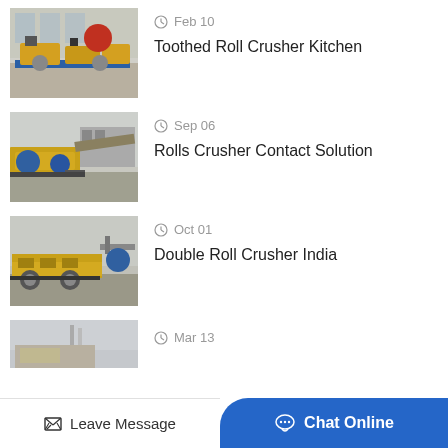[Figure (photo): Industrial toothed roll crusher machine in factory setting, yellow machinery]
Feb 10
Toothed Roll Crusher Kitchen
[Figure (photo): Industrial rolls crusher machine outdoors, yellow and blue machinery]
Sep 06
Rolls Crusher Contact Solution
[Figure (photo): Double roll crusher machine outdoors, yellow industrial equipment]
Oct 01
Double Roll Crusher India
[Figure (photo): Partial view of another crusher machine]
Mar 13
Leave Message   Chat Online